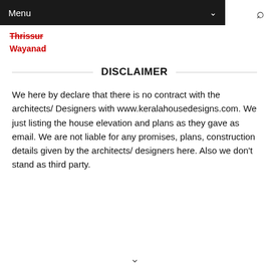Menu
Thrissur
Wayanad
DISCLAIMER
We here by declare that there is no contract with the architects/ Designers with www.keralahousedesigns.com. We just listing the house elevation and plans as they gave as email. We are not liable for any promises, plans, construction details given by the architects/ designers here. Also we don't stand as third party.